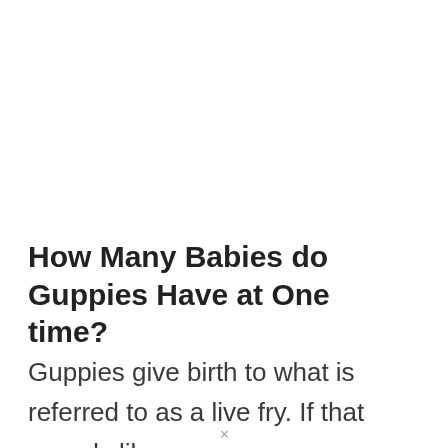How Many Babies do Guppies Have at One time?
Guppies give birth to what is referred to as a live fry. If that sounds like a